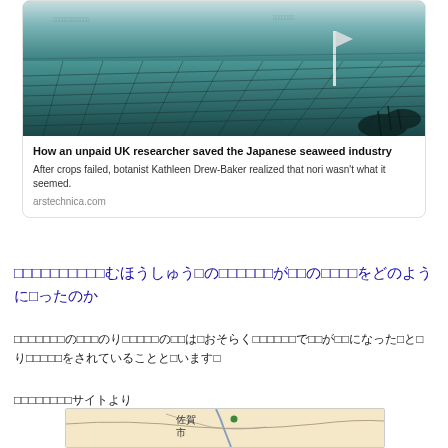[Figure (photo): Aerial photo of Japanese seaweed farming nets in water, teal/blue-green tones with rows of farming structures]
How an unpaid UK researcher saved the Japanese seaweed industry
After crops failed, botanist Kathleen Drew-Baker realized that nori wasn't what it seemed.
arstechnica.com
□□□□□□□□□□むほうしゅう□の□□□□□□が□□の□□□□をどのように□ったのか
□□□□□□□の□□□のり□□□□□の□□は□おそらく□□□□□□で□□が□□になった□と□り□□□□□をされていることと□います□
□□□□□□□□サイトより
[Figure (map): Partial map showing Saga city area in Japan with location marker]